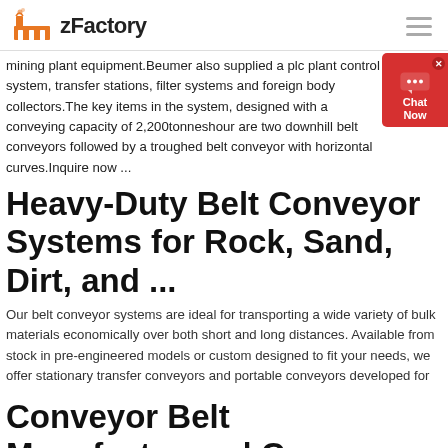zFactory
mining plant equipment.Beumer also supplied a plc plant control system, transfer stations, filter systems and foreign body collectors.The key items in the system, designed with a conveying capacity of 2,200tonneshour are two downhill belt conveyors followed by a troughed belt conveyor with horizontal curves.Inquire now ...
Heavy-Duty Belt Conveyor Systems for Rock, Sand, Dirt, and ...
Our belt conveyor systems are ideal for transporting a wide variety of bulk materials economically over both short and long distances. Available from stock in pre-engineered models or custom designed to fit your needs, we offer stationary transfer conveyors and portable conveyors developed for
Conveyor Belt Manufacturers | Conveyor Belt Suppliers...